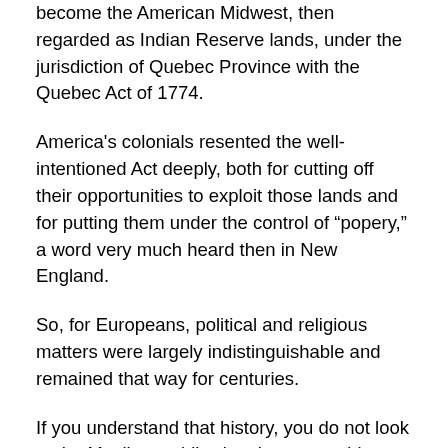become the American Midwest, then regarded as Indian Reserve lands, under the jurisdiction of Quebec Province with the Quebec Act of 1774.
America's colonials resented the well-intentioned Act deeply, both for cutting off their opportunities to exploit those lands and for putting them under the control of “popery,” a word very much heard then in New England.
So, for Europeans, political and religious matters were largely indistinguishable and remained that way for centuries.
If you understand that history, you do not look at the Muslim world’s situation as anything mysterious or unusual.
It likely reflects a basic division in human psychological